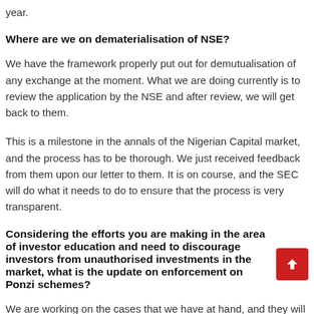year.
Where are we on dematerialisation of NSE?
We have the framework properly put out for demutualisation of any exchange at the moment. What we are doing currently is to review the application by the NSE and after review, we will get back to them.
This is a milestone in the annals of the Nigerian Capital market, and the process has to be thorough. We just received feedback from them upon our letter to them. It is on course, and the SEC will do what it needs to do to ensure that the process is very transparent.
Considering the efforts you are making in the area of investor education and need to discourage investors from unauthorised investments in the market, what is the update on enforcement on Ponzi schemes?
We are working on the cases that we have at hand, and they will be